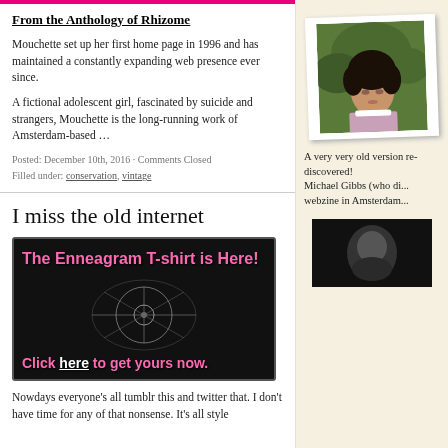From the Anthology of Rhizome
Mouchette set up her first home page in 1996 and has maintained a constantly expanding web presence ever since.
A fictional adolescent girl, fascinated by suicide and strangers, Mouchette is the long-running work of Amsterdam-based …
Posted: December 10th, 2016 · Comments Closed
Filled under: conservation, vintage
I miss the old internet
[Figure (photo): Advertisement banner for Enneagram T-shirt with pink text on black background showing a T-shirt with geometric design. Top text: 'The Enneagram T-shirt is Here!' Bottom text: 'Click here to get yours now.']
Nowdays everyone's all tumblr this and twitter that. I don't have time for any of that nonsense. It's all style
[Figure (photo): Photo of a young girl with dark hair looking down, in a white-bordered photo frame tilted slightly]
A very very old version re-discovered!
Michael Gibbs (who di... webzine in Amsterdam...
[Figure (photo): Small dark photo in right sidebar]